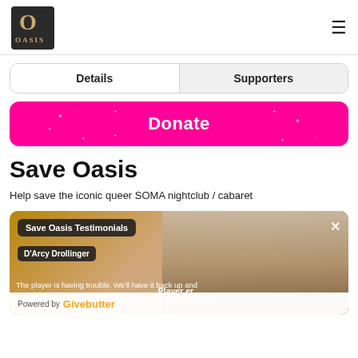OASIS logo and navigation menu
Details | Supporters
Donate
Save Oasis
Help save the iconic queer SOMA nightclub / cabaret
[Figure (screenshot): Video player overlay showing Save Oasis Testimonials with D'Arcy Drollinger, close button, player error message, and Powered by Givebutter branding. Background shows a performer (drag queen with blonde hair and dramatic makeup).]